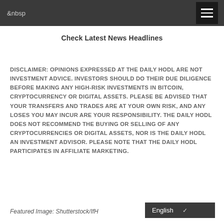&nbsp
Check Latest News Headlines
DISCLAIMER: OPINIONS EXPRESSED AT THE DAILY HODL ARE NOT INVESTMENT ADVICE. INVESTORS SHOULD DO THEIR DUE DILIGENCE BEFORE MAKING ANY HIGH-RISK INVESTMENTS IN BITCOIN, CRYPTOCURRENCY OR DIGITAL ASSETS. PLEASE BE ADVISED THAT YOUR TRANSFERS AND TRADES ARE AT YOUR OWN RISK, AND ANY LOSES YOU MAY INCUR ARE YOUR RESPONSIBILITY. THE DAILY HODL DOES NOT RECOMMEND THE BUYING OR SELLING OF ANY CRYPTOCURRENCIES OR DIGITAL ASSETS, NOR IS THE DAILY HODL AN INVESTMENT ADVISOR. PLEASE NOTE THAT THE DAILY HODL PARTICIPATES IN AFFILIATE MARKETING.
Featured Image: Shutterstock/IfH
English